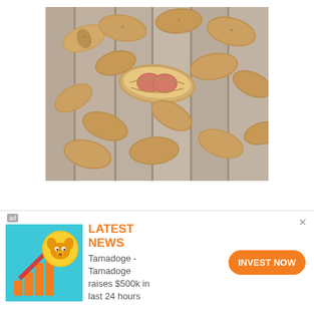[Figure (photo): Close-up photograph of peanuts in shells on a wooden surface, with one peanut opened showing two red/pink peanut kernels inside]
[Figure (infographic): Advertisement banner for Tamadoge cryptocurrency. Features a cartoon dog coin logo with an upward arrow and orange bar chart. Text reads LATEST NEWS in orange, followed by 'Tamadoge - Tamadoge raises $500k in last 24 hours' and an orange INVEST NOW button. Small 'ad' label in top left corner and an X close button in top right.]